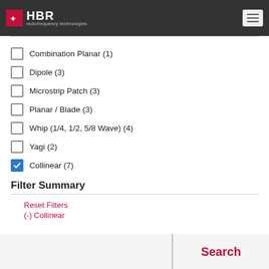HBR radiofrequency technologies
Combination Planar (1)
Dipole (3)
Microstrip Patch (3)
Planar / Blade (3)
Whip (1/4, 1/2, 5/8 Wave) (4)
Yagi (2)
Collinear (7) [checked]
Filter Summary
Reset Filters
(-) Collinear